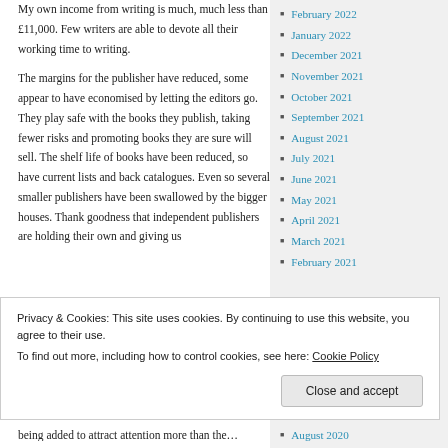My own income from writing is much, much less than £11,000. Few writers are able to devote all their working time to writing.
The margins for the publisher have reduced, some appear to have economised by letting the editors go. They play safe with the books they publish, taking fewer risks and promoting books they are sure will sell. The shelf life of books have been reduced, so have current lists and back catalogues. Even so several smaller publishers have been swallowed by the bigger houses. Thank goodness that independent publishers are holding their own and giving us
February 2022
January 2022
December 2021
November 2021
October 2021
September 2021
August 2021
July 2021
June 2021
May 2021
April 2021
March 2021
February 2021
Privacy & Cookies: This site uses cookies. By continuing to use this website, you agree to their use.
To find out more, including how to control cookies, see here: Cookie Policy
Close and accept
August 2020